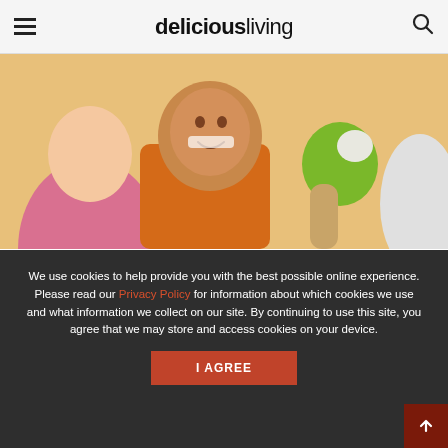deliciousliving
[Figure (photo): Children smiling, one holding a green apple with a bite taken out of it]
Organic foods aren't healthier for kids?
November 14, 2012
[Figure (infographic): Slide pagination dots: 10 dots, first one filled/active in orange-red, rest are empty circles]
We use cookies to help provide you with the best possible online experience. Please read our Privacy Policy for information about which cookies we use and what information we collect on our site. By continuing to use this site, you agree that we may store and access cookies on your device.
I AGREE